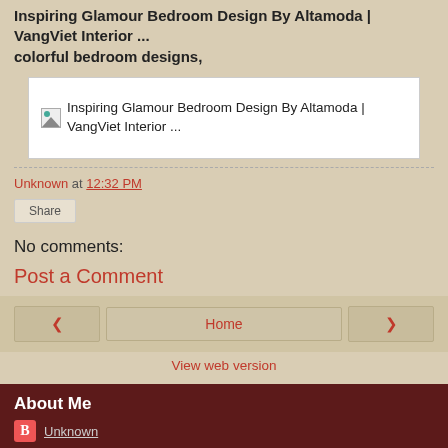Inspiring Glamour Bedroom Design By Altamoda | VangViet Interior ... colorful bedroom designs,
[Figure (illustration): Broken image placeholder for Inspiring Glamour Bedroom Design By Altamoda | VangViet Interior ...]
Unknown at 12:32 PM
Share
No comments:
Post a Comment
Home | < | > | View web version | About Me | Unknown